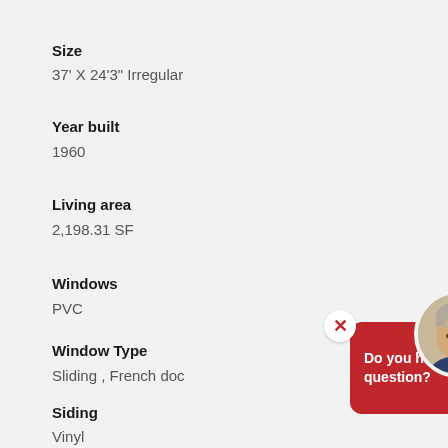Size
37' X 24'3" Irregular
Year built
1960
Living area
2,198.31 SF
Windows
PVC
Window Type
Sliding , French doc
Siding
Vinyl
[Figure (illustration): Chat popup overlay with red bubble saying 'Do you have a question?' with a close X button and a circular avatar photo of a man.]